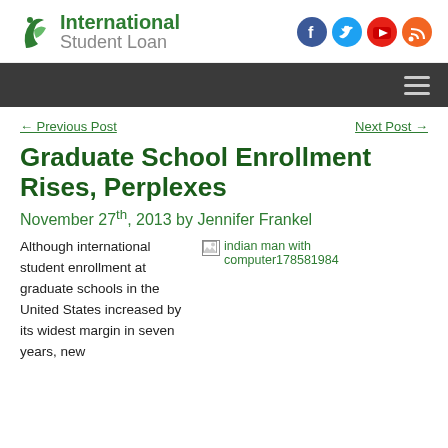[Figure (logo): International Student Loan logo with green swirl icon and social media icons (Facebook, Twitter, YouTube, RSS)]
[Figure (other): Dark navigation bar with hamburger menu icon]
← Previous Post
Next Post →
Graduate School Enrollment Rises, Perplexes
November 27th, 2013 by Jennifer Frankel
Although international student enrollment at graduate schools in the United States increased by its widest margin in seven years, new
[Figure (photo): Broken image placeholder with alt text: indian man with computer178581984]